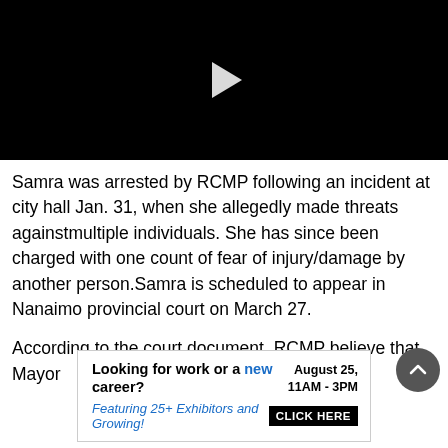[Figure (screenshot): Black video player with white play button triangle in the center]
Samra was arrested by RCMP following an incident at city hall Jan. 31, when she allegedly made threats againstmultiple individuals. She has since been charged with one count of fear of injury/damage by another person.Samra is scheduled to appear in Nanaimo provincial court on March 27.
According to the court document, RCMP believe that Mayor
[Figure (infographic): Advertisement banner: 'Looking for work or a new career? August 25, 11AM - 3PM. Featuring 25+ Exhibitors and Growing! CLICK HERE']